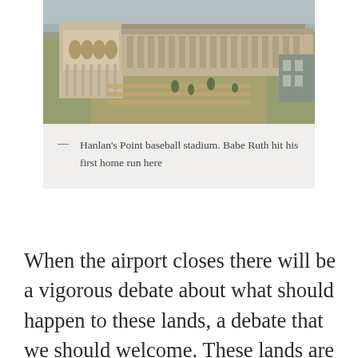[Figure (photo): Historical photograph of Hanlan's Point baseball stadium, showing a large grandstand building with arched facade on the left and a long covered stand extending to the right, with green grounds and small trees in the foreground.]
— Hanlan's Point baseball stadium. Babe Ruth hit his first home run here
When the airport closes there will be a vigorous debate about what should happen to these lands, a debate that we should welcome. These lands are a tremendous opportunity and there should be a broad, inclusive discussion